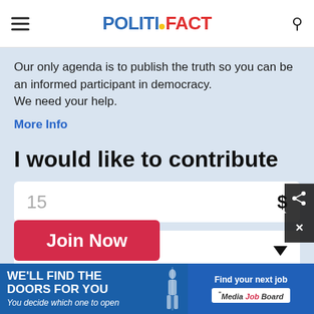POLITIFACT
Our only agenda is to publish the truth so you can be an informed participant in democracy. We need your help.
More Info
I would like to contribute
15 $
Monthly
Join Now
[Figure (screenshot): Advertisements at the bottom: 'WE'LL FIND THE DOORS FOR YOU - You decide which one to open' and 'Find your next job - Media Job Board']